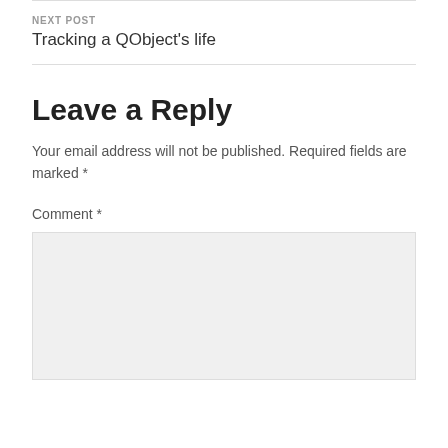NEXT POST
Tracking a QObject's life
Leave a Reply
Your email address will not be published. Required fields are marked *
Comment *